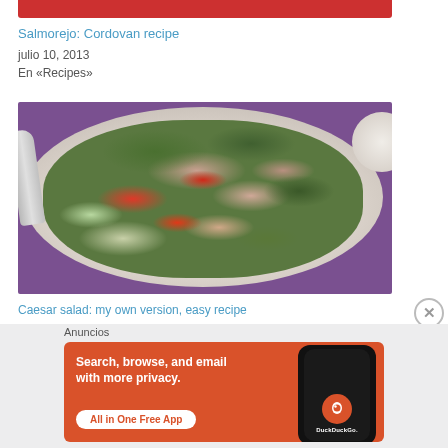[Figure (photo): Top portion of a red soup (Salmorejo) in a dish, partially visible at top of page]
Salmorejo: Cordovan recipe
julio 10, 2013
En «Recipes»
[Figure (photo): Caesar salad in a white bowl on a purple placemat, with chicken, tomatoes, lettuce, red peppers, pine nuts and dressing]
Caesar salad: my own version, easy recipe
Anuncios
[Figure (screenshot): DuckDuckGo advertisement banner with orange background showing 'Search, browse, and email with more privacy. All in One Free App' with a smartphone showing the DuckDuckGo app icon]